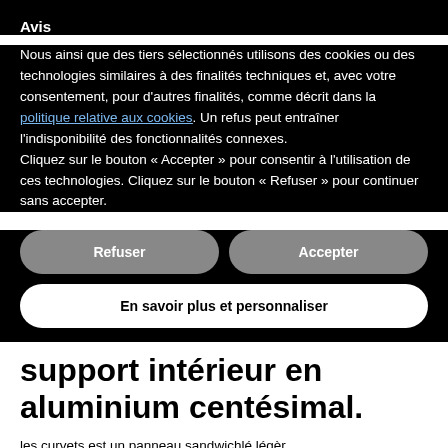Avis
Nous ainsi que des tiers sélectionnés utilisons des cookies ou des technologies similaires à des finalités techniques et, avec votre consentement, pour d'autres finalités, comme décrit dans la politique relative aux cookies. Un refus peut entraîner l'indisponibilité des fonctionnalités connexes.
Cliquez sur le bouton « Accepter » pour consentir à l'utilisation de ces technologies. Cliquez sur le bouton « Refuser » pour continuer sans accepter.
Refuser
Accepter
En savoir plus et personnaliser
support intérieur en aluminium centésimal.
les curvets est un panneau sandwichlé légèr